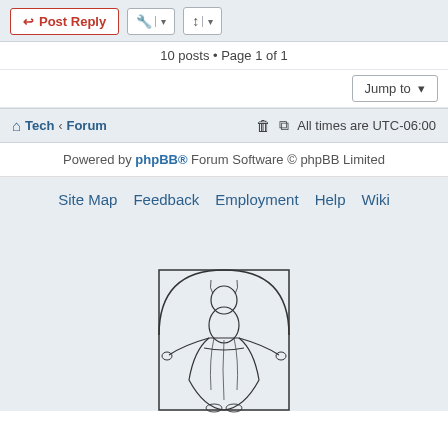10 posts • Page 1 of 1
Jump to
Tech › Forum   All times are UTC-06:00
Powered by phpBB® Forum Software © phpBB Limited
Site Map   Feedback   Employment   Help   Wiki
[Figure (illustration): Line drawing of a robed figure (Christ) with arms extended, standing within an arched frame]